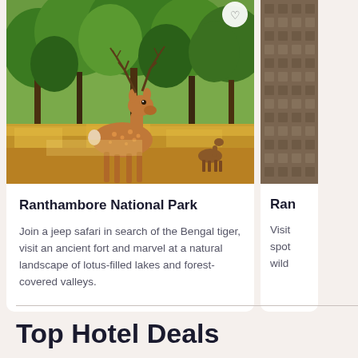[Figure (photo): A spotted deer (chital) standing in a forest with dry grass and green trees in Ranthambore National Park]
Ranthambore National Park
Join a jeep safari in search of the Bengal tiger, visit an ancient fort and marvel at a natural landscape of lotus-filled lakes and forest-covered valleys.
[Figure (photo): Partial view of another card showing stone/architectural structure, likely another Ranthambore related image]
Ran
Visit spot wild
Top Hotel Deals